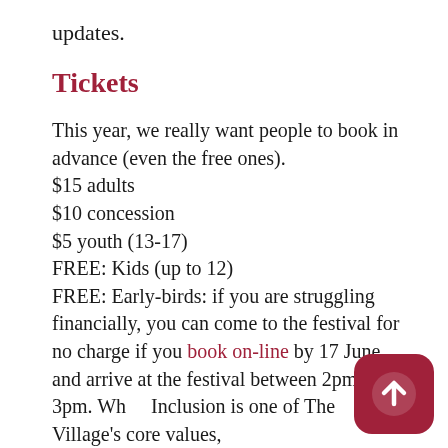updates.
Tickets
This year, we really want people to book in advance (even the free ones).
$15 adults
$10 concession
$5 youth (13-17)
FREE: Kids (up to 12)
FREE: Early-birds: if you are struggling financially, you can come to the festival for no charge if you book on-line by 17 June and arrive at the festival between 2pm and 3pm. Wh[ile] Inclusion is one of The Village's core values,